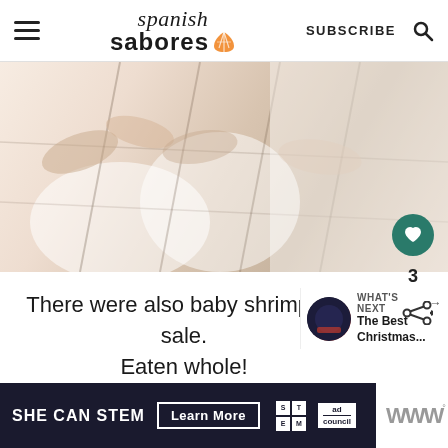Spanish Sabores — SUBSCRIBE
[Figure (photo): Close-up photo of shrimp or seafood in white bowls with shadow overlay, partially faded/bright]
There were also baby shrimp for sale. Eaten whole!
WHAT'S NEXT → The Best Christmas...
[Figure (photo): Small circular thumbnail photo of Christmas scene]
[Figure (other): SHE CAN STEM — Learn More — ad council advertisement banner]